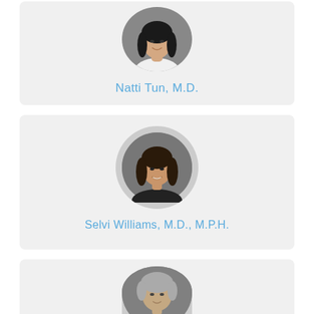[Figure (photo): Circular headshot of a young Asian woman with long dark hair, smiling, against a gray background]
Natti Tun, M.D.
[Figure (photo): Circular headshot of a South Asian woman with dark shoulder-length hair, smiling, against a gray background]
Selvi Williams, M.D., M.P.H.
[Figure (photo): Circular headshot of a man with short light hair, partially visible, against a gray background]